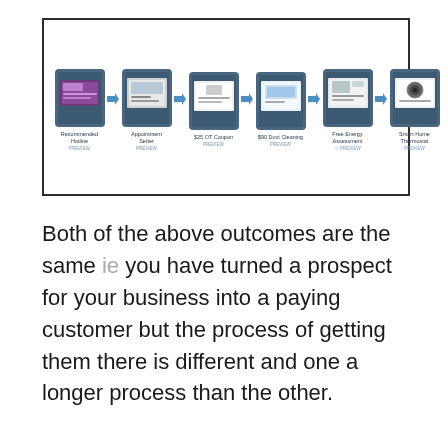[Figure (flowchart): A horizontal flowchart inside a bordered rectangle showing 6 sequential steps connected by arrows: Recommended Hotline, Appointment Setter, $25 OT Coupon, $90 Duct Cleaning, Free Energy Assessment, Smart Home Thermostat. Each step has a thumbnail image preview labeled PREVIEW.]
Both of the above outcomes are the same ie you have turned a prospect for your business into a paying customer but the process of getting them there is different and one a longer process than the other.